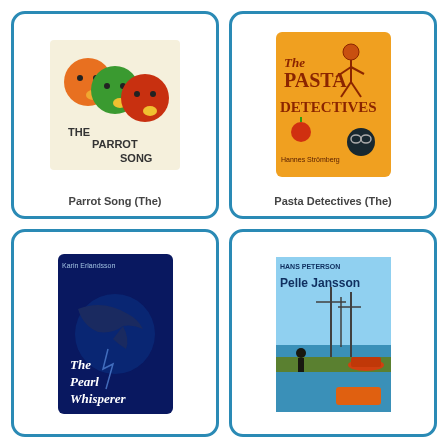[Figure (illustration): Book cover of 'The Parrot Song' showing three round bird heads in orange, green, and red on a cream background]
Parrot Song (The)
[Figure (illustration): Book cover of 'The Pasta Detectives' on a yellow/orange background with illustrated characters]
Pasta Detectives (The)
[Figure (illustration): Book cover of 'The Pearl Whisperer' by Karin Erlandsson, dark blue background with shark silhouette]
[Figure (illustration): Book cover of 'Pelle Jansson' by Hans Peterson, blue cover with harbor scene]